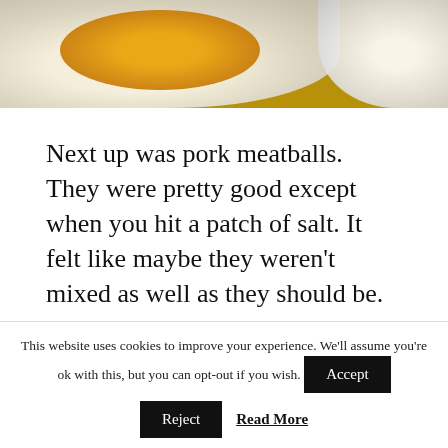[Figure (photo): Photo of a white plate with orange/yellow sauce or soup, and a smaller bowl on the right, viewed from above on a light surface]
Next up was pork meatballs. They were pretty good except when you hit a patch of salt. It felt like maybe they weren't mixed as well as they should be.
Then we had fried fish with tata sauce. It was pretty good.
This website uses cookies to improve your experience. We'll assume you're ok with this, but you can opt-out if you wish.  Accept  Reject  Read More